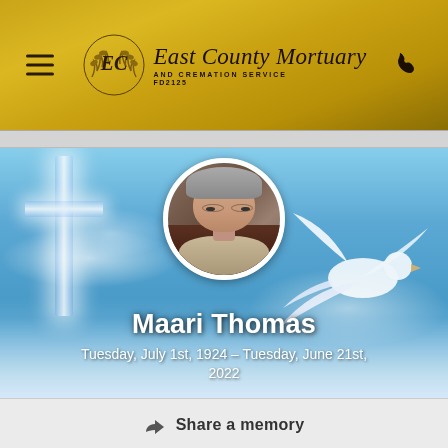[Figure (logo): East County Mortuary and Cremation Service FD2125 logo on gold gradient header bar with hamburger menu icon on left and phone icon on right]
[Figure (photo): Memorial banner with sky, cross, and dove background. Circular portrait photo of Maari Thomas, an elderly woman with grey hair. Name and dates overlaid at bottom.]
Maari Thomas
Tuesday, July 1st, 1924 – Tuesday, June 21st, 2022
Share a memory